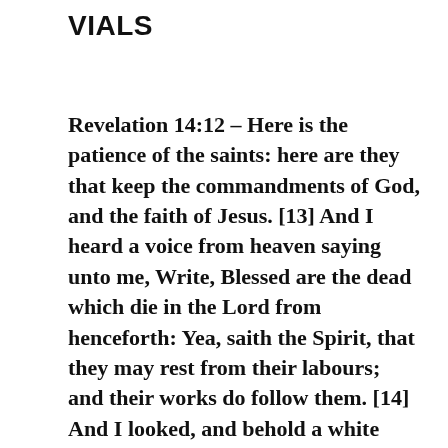VIALS
Revelation 14:12 – Here is the patience of the saints: here are they that keep the commandments of God, and the faith of Jesus. [13] And I heard a voice from heaven saying unto me, Write, Blessed are the dead which die in the Lord from henceforth: Yea, saith the Spirit, that they may rest from their labours; and their works do follow them. [14] And I looked, and behold a white cloud, and